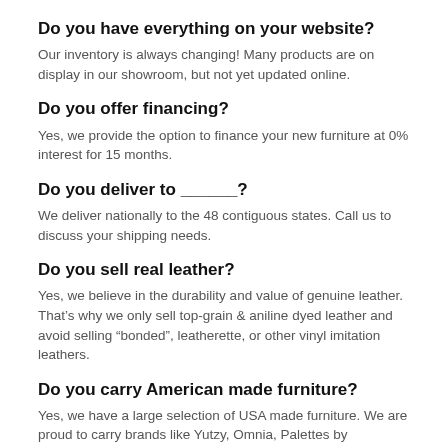Do you have everything on your website?
Our inventory is always changing! Many products are on display in our showroom, but not yet updated online.
Do you offer financing?
Yes, we provide the option to finance your new furniture at 0% interest for 15 months.
Do you deliver to ______?
We deliver nationally to the 48 contiguous states. Call us to discuss your shipping needs.
Do you sell real leather?
Yes, we believe in the durability and value of genuine leather. That’s why we only sell top-grain & aniline dyed leather and avoid selling “bonded”, leatherette, or other vinyl imitation leathers.
Do you carry American made furniture?
Yes, we have a large selection of USA made furniture. We are proud to carry brands like Yutzy, Omnia, Palettes by Winesburg, Craftmaster, Southern Motion, and many others.